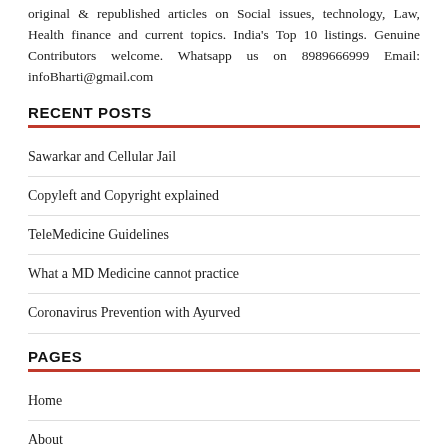original & republished articles on Social issues, technology, Law, Health finance and current topics. India's Top 10 listings. Genuine Contributors welcome. Whatsapp us on 8989666999 Email: infoBharti@gmail.com
RECENT POSTS
Sawarkar and Cellular Jail
Copyleft and Copyright explained
TeleMedicine Guidelines
What a MD Medicine cannot practice
Coronavirus Prevention with Ayurved
PAGES
Home
About